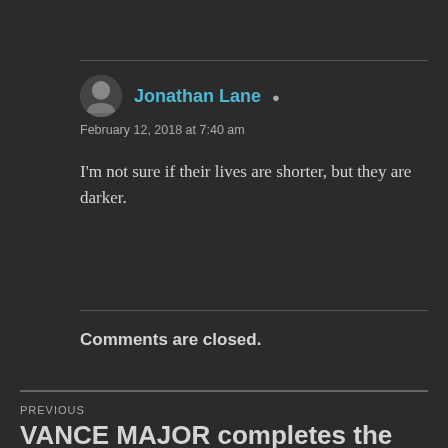Jonathan Lane
February 12, 2018 at 7:40 am
I'm not sure if their lives are shorter, but they are darker.
Comments are closed.
PREVIOUS
VANCE MAJOR completes the MINARD Saga! (interview, part